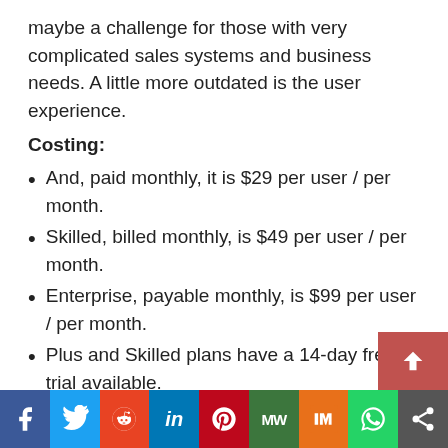maybe a challenge for those with very complicated sales systems and business needs. A little more outdated is the user experience.
Costing:
And, paid monthly, it is $29 per user / per month.
Skilled, billed monthly, is $49 per user / per month.
Enterprise, payable monthly, is $99 per user / per month.
Plus and Skilled plans have a 14-day free trial available.